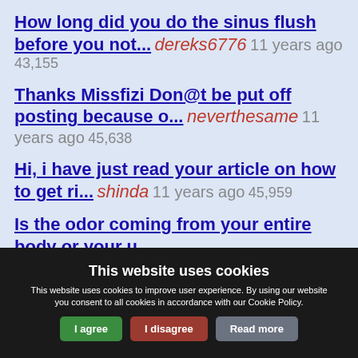How long did you do the sinus flush before you not... dereks6776 11 years ago 43,155
Thanks Missfizi Don@t be put off posting because o... neverthesame 11 years ago 45,638
Hi, i have just read your article on how to get ri... shinda 11 years ago 45,959
Is the odor coming from your entire body or your u... waitingonasecondchance 11 years ago 46,482
This website uses cookies
This website uses cookies to improve user experience. By using our website you consent to all cookies in accordance with our Cookie Policy.